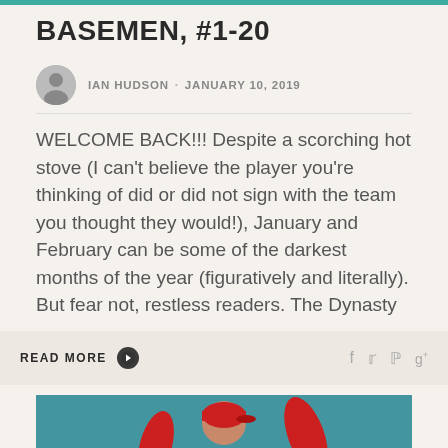BASEMEN, #1-20
IAN HUDSON · JANUARY 10, 2019
WELCOME BACK!!! Despite a scorching hot stove (I can't believe the player you're thinking of did or did not sign with the team you thought they would!), January and February can be some of the darkest months of the year (figuratively and literally). But fear not, restless readers. The Dynasty
READ MORE
[Figure (photo): Baseball player wearing Angels jersey number 56, red uniform, teal/blue background]